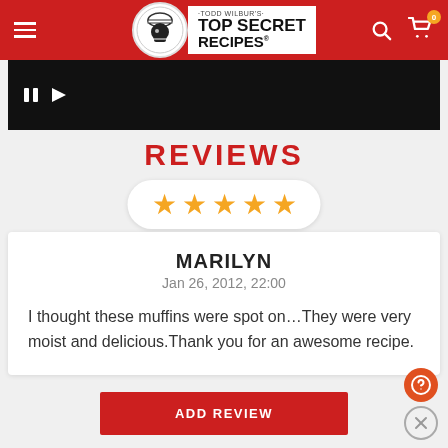Todd Wilbur's Top Secret Recipes — site header navigation bar
[Figure (screenshot): Black video player strip with pause and expand icons]
REVIEWS
[Figure (other): Five orange star rating displayed in a white rounded pill shape]
MARILYN
Jan 26, 2012, 22:00

I thought these muffins were spot on…They were very moist and delicious.Thank you for an awesome recipe.
ADD REVIEW